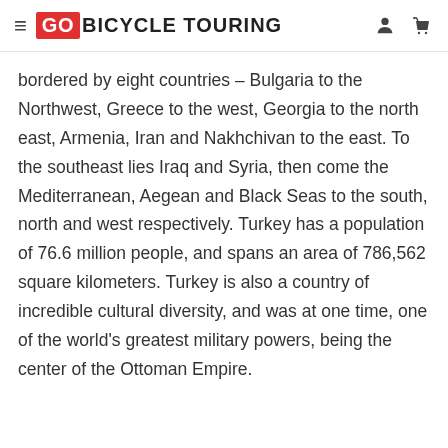GO BICYCLE TOURING
bordered by eight countries – Bulgaria to the Northwest, Greece to the west, Georgia to the north east, Armenia, Iran and Nakhchivan to the east. To the southeast lies Iraq and Syria, then come the Mediterranean, Aegean and Black Seas to the south, north and west respectively. Turkey has a population of 76.6 million people, and spans an area of 786,562 square kilometers. Turkey is also a country of incredible cultural diversity, and was at one time, one of the world's greatest military powers, being the center of the Ottoman Empire.